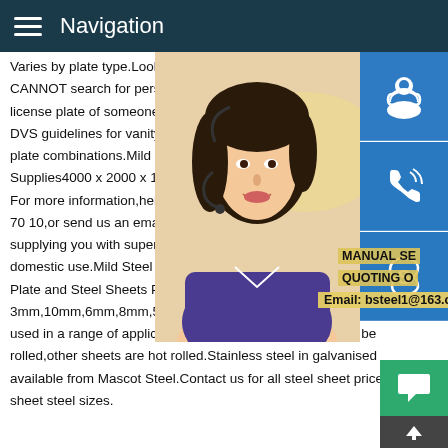Navigation
Varies by plate type.Lookup License Plate CANNOT search for personalized license license plate of someone else's vehicle.You DVS guidelines for vanity plates to learn more plate combinations.Mild Steel Plate from U Supplies4000 x 2000 x 150mm Mild Steel For more information,help or free advice,c 70 10,or send us an email sales@metalsu supplying you with superior-quality,produc domestic use.Mild Steel Plate Mascot Steel Plate and Steel Sheets Popular Sheet Steel sizes 3mm,10mm,6mm,8mm,5mm,20mm,12mm,25mm.Sheet metal is used in a range of applications.Some standard sheets can be rolled,other sheets are hot rolled.Stainless steel in galvanised available from Mascot Steel.Contact us for all steel sheet price sheet steel sizes.
[Figure (photo): Woman with headset, customer service representative photo, partially visible on right side of page]
[Figure (infographic): Three blue icon buttons on right: customer service headset icon, phone/call icon, Skype icon]
MANUAL SE QUOTING O Email: bsteel1@163.com
[Figure (infographic): Green chat bubble button at bottom right]
[Figure (infographic): Dark grey up-arrow button at bottom right]